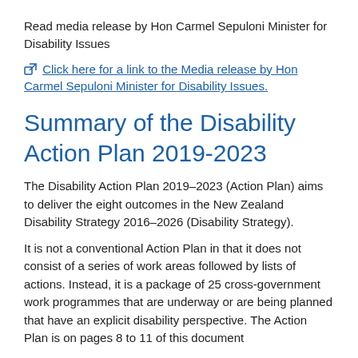Read media release by Hon Carmel Sepuloni Minister for Disability Issues
Click here for a link to the Media release by Hon Carmel Sepuloni Minister for Disability Issues.
Summary of the Disability Action Plan 2019-2023
The Disability Action Plan 2019–2023 (Action Plan) aims to deliver the eight outcomes in the New Zealand Disability Strategy 2016–2026 (Disability Strategy).
It is not a conventional Action Plan in that it does not consist of a series of work areas followed by lists of actions. Instead, it is a package of 25 cross-government work programmes that are underway or are being planned that have an explicit disability perspective. The Action Plan is on pages 8 to 11 of this document